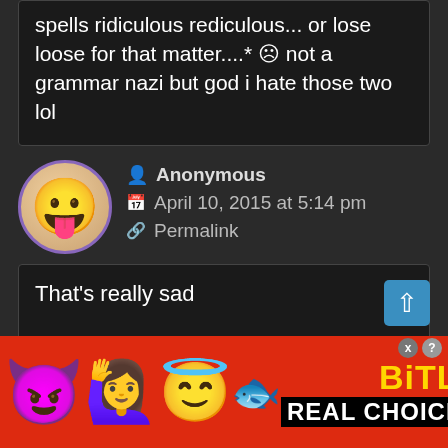spells ridiculous rediculous... or lose loose for that matter....* ☹ not a grammar nazi but god i hate those two lol
Anonymous
April 10, 2015 at 5:14 pm
Permalink
That’s really sad
Anonymous
[Figure (illustration): Advertisement banner with emojis (devil, woman raising hands, angel, sperm) and BitLi branding with REAL CHOICE tagline on red background]